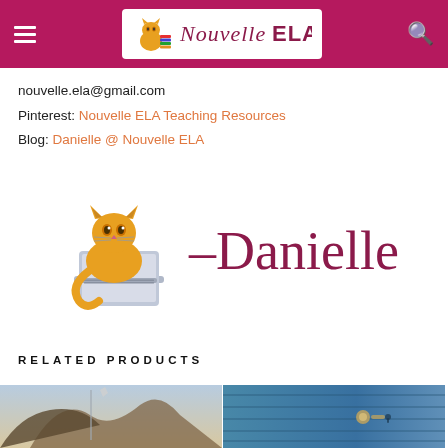Nouvelle ELA
nouvelle.ela@gmail.com
Pinterest: Nouvelle ELA Teaching Resources
Blog: Danielle @ Nouvelle ELA
[Figure (illustration): Orange cat sitting with a laptop and cursive signature reading '-Danielle' in dark pink/maroon color]
RELATED PRODUCTS
[Figure (photo): Two related product thumbnail images - left shows architectural detail with sky, right shows blue wooden door]